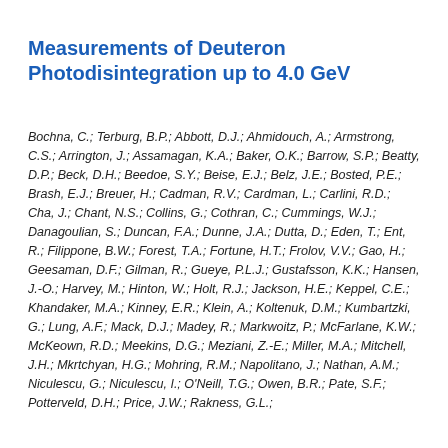Measurements of Deuteron Photodisintegration up to 4.0 GeV
Bochna, C.; Terburg, B.P.; Abbott, D.J.; Ahmidouch, A.; Armstrong, C.S.; Arrington, J.; Assamagan, K.A.; Baker, O.K.; Barrow, S.P.; Beatty, D.P.; Beck, D.H.; Beedoe, S.Y.; Beise, E.J.; Belz, J.E.; Bosted, P.E.; Brash, E.J.; Breuer, H.; Cadman, R.V.; Cardman, L.; Carlini, R.D.; Cha, J.; Chant, N.S.; Collins, G.; Cothran, C.; Cummings, W.J.; Danagoulian, S.; Duncan, F.A.; Dunne, J.A.; Dutta, D.; Eden, T.; Ent, R.; Filippone, B.W.; Forest, T.A.; Fortune, H.T.; Frolov, V.V.; Gao, H.; Geesaman, D.F.; Gilman, R.; Gueye, P.L.J.; Gustafsson, K.K.; Hansen, J.-O.; Harvey, M.; Hinton, W.; Holt, R.J.; Jackson, H.E.; Keppel, C.E.; Khandaker, M.A.; Kinney, E.R.; Klein, A.; Koltenuk, D.M.; Kumbartzki, G.; Lung, A.F.; Mack, D.J.; Madey, R.; Markwoitz, P.; McFarlane, K.W.; McKeown, R.D.; Meekins, D.G.; Meziani, Z.-E.; Miller, M.A.; Mitchell, J.H.; Mkrtchyan, H.G.; Mohring, R.M.; Napolitano, J.; Nathan, A.M.; Niculescu, G.; Niculescu, I.; O'Neill, T.G.; Owen, B.R.; Pate, S.F.; Potterveld, D.H.; Price, J.W.; Rakness, G.L.;